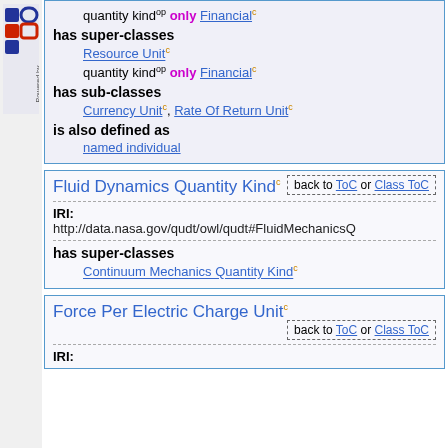[Figure (logo): LODE logo - blue squared letters with 'Powered by' text rotated vertically]
is equivalent to
quantity kind^op only Financial^c
has super-classes
Resource Unit^c
quantity kind^op only Financial^c
has sub-classes
Currency Unit^c, Rate Of Return Unit^c
is also defined as
named individual
Fluid Dynamics Quantity Kind^c
back to ToC or Class ToC
IRI: http://data.nasa.gov/qudt/owl/qudt#FluidMechanicsQ
has super-classes
Continuum Mechanics Quantity Kind^c
Force Per Electric Charge Unit^c
back to ToC or Class ToC
IRI: